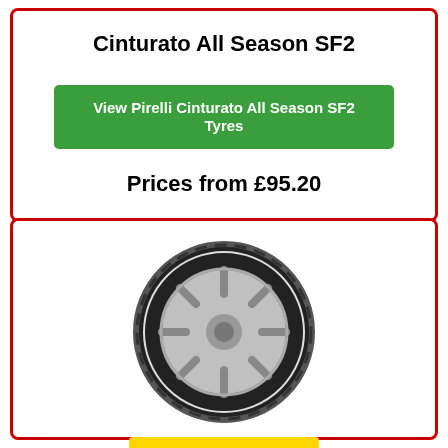Cinturato All Season SF2
View Pirelli Cinturato All Season SF2 Tyres
Prices from £95.20
[Figure (photo): Pirelli tyre product photo showing a black tyre with silver alloy wheel]
[Figure (logo): Pirelli logo - yellow background with red PIRELLI text and P symbol]